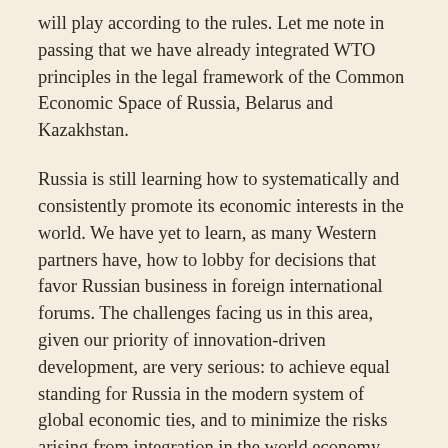will play according to the rules. Let me note in passing that we have already integrated WTO principles in the legal framework of the Common Economic Space of Russia, Belarus and Kazakhstan.
Russia is still learning how to systematically and consistently promote its economic interests in the world. We have yet to learn, as many Western partners have, how to lobby for decisions that favor Russian business in foreign international forums. The challenges facing us in this area, given our priority of innovation-driven development, are very serious: to achieve equal standing for Russia in the modern system of global economic ties, and to minimize the risks arising from integration in the world economy, including Russia's membership in the WTO and its forthcoming accession to the OECD.
We are badly in need of broader, non-discriminatory access to foreign markets. So far Russian economic actors have